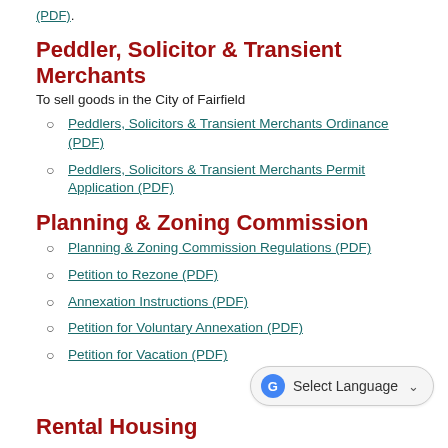(PDF).
Peddler, Solicitor & Transient Merchants
To sell goods in the City of Fairfield
Peddlers, Solicitors & Transient Merchants Ordinance (PDF)
Peddlers, Solicitors & Transient Merchants Permit Application (PDF)
Planning & Zoning Commission
Planning & Zoning Commission Regulations (PDF)
Petition to Rezone (PDF)
Annexation Instructions (PDF)
Petition for Voluntary Annexation (PDF)
Petition for Vacation (PDF)
Rental Housing